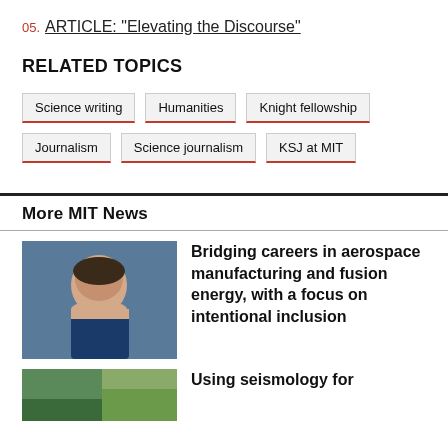05. ARTICLE: "Elevating the Discourse"
RELATED TOPICS
Science writing
Humanities
Knight fellowship
Journalism
Science journalism
KSJ at MIT
More MIT News
[Figure (photo): Headshot of a person with short hair wearing a blue patterned shirt, smiling, with a blurred background.]
Bridging careers in aerospace manufacturing and fusion energy, with a focus on intentional inclusion
[Figure (photo): Partial image of an outdoor scene, cropped at bottom of page.]
Using seismology for